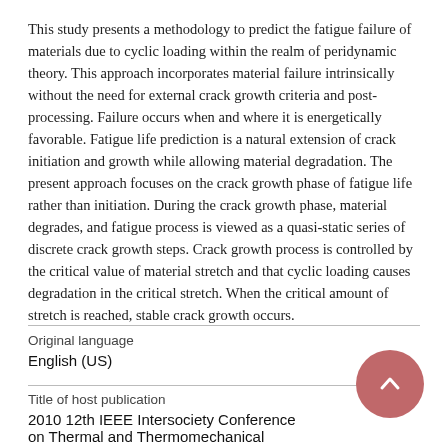This study presents a methodology to predict the fatigue failure of materials due to cyclic loading within the realm of peridynamic theory. This approach incorporates material failure intrinsically without the need for external crack growth criteria and post-processing. Failure occurs when and where it is energetically favorable. Fatigue life prediction is a natural extension of crack initiation and growth while allowing material degradation. The present approach focuses on the crack growth phase of fatigue life rather than initiation. During the crack growth phase, material degrades, and fatigue process is viewed as a quasi-static series of discrete crack growth steps. Crack growth process is controlled by the critical value of material stretch and that cyclic loading causes degradation in the critical stretch. When the critical amount of stretch is reached, stable crack growth occurs.
Original language
English (US)
Title of host publication
2010 12th IEEE Intersociety Conference on Thermal and Thermomechanical